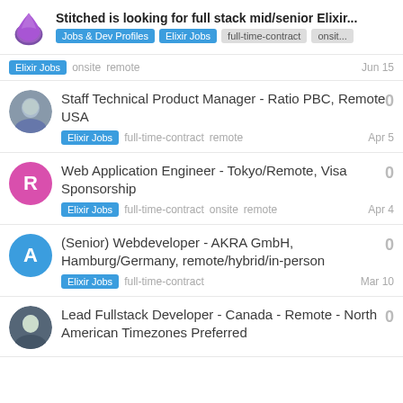Stitched is looking for full stack mid/senior Elixir... | Jobs & Dev Profiles | Elixir Jobs | full-time-contract | onsit...
Elixir Jobs  onsite  remote  Jun 15
Staff Technical Product Manager - Ratio PBC, Remote USA | Elixir Jobs  full-time-contract  remote  Apr 5 | 0
Web Application Engineer - Tokyo/Remote, Visa Sponsorship | Elixir Jobs  full-time-contract  onsite  remote  Apr 4 | 0
(Senior) Webdeveloper - AKRA GmbH, Hamburg/Germany, remote/hybrid/in-person | Elixir Jobs  full-time-contract  Mar 10 | 0
Lead Fullstack Developer - Canada - Remote - North American Timezones Preferred | 0